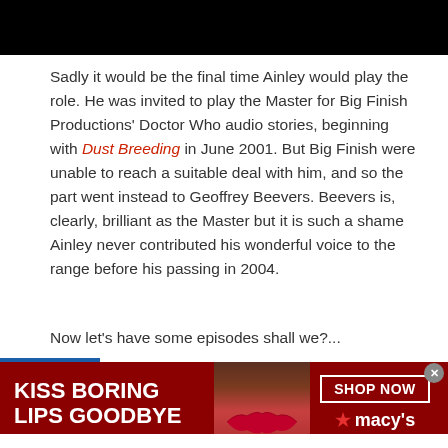[Figure (photo): Black bar at top of page, likely bottom of an image above]
Sadly it would be the final time Ainley would play the role. He was invited to play the Master for Big Finish Productions' Doctor Who audio stories, beginning with Dust Breeding in June 2001. But Big Finish were unable to reach a suitable deal with him, and so the part went instead to Geoffrey Beevers. Beevers is, clearly, brilliant as the Master but it is such a shame Ainley never contributed his wonderful voice to the range before his passing in 2004.
Now let's have some episodes shall we?...
[Figure (screenshot): Infolinks advertisement banner - KISS BORING LIPS GOODBYE with Macy's SHOP NOW call to action]